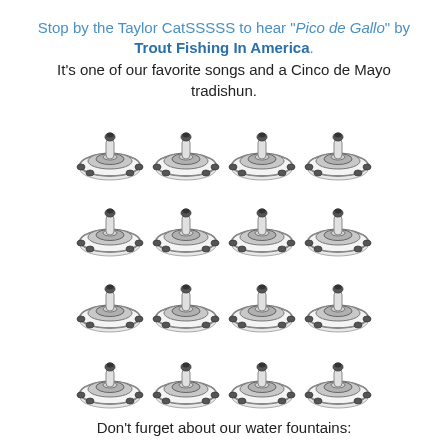Stop by the Taylor CatSSSSS to hear "Pico de Gallo" by Trout Fishing In America. It's one of our favorite songs and a Cinco de Mayo tradishun.
[Figure (illustration): A 4x4 grid of 16 identical pet water fountain images (circular stainless steel fountains with a spout on top), arranged in four rows of four.]
Don't furget about our water fountains: